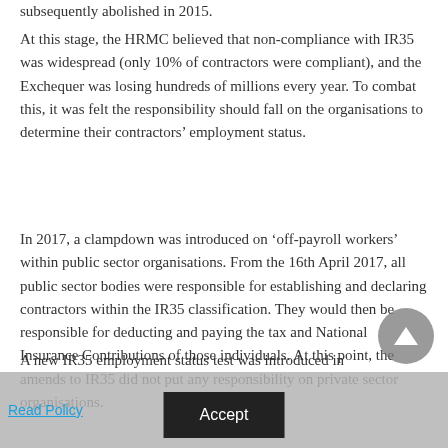subsequently abolished in 2015.
At this stage, the HRMC believed that non-compliance with IR35 was widespread (only 10% of contractors were compliant), and the Exchequer was losing hundreds of millions every year. To combat this, it was felt the responsibility should fall on the organisations to determine their contractors’ employment status.
In 2017, a clampdown was introduced on ‘off-payroll workers’ within public sector organisations. From the 16th April 2017, all public sector bodies were responsible for establishing and declaring contractors within the IR35 classification. They would then be responsible for deducting and paying the tax and National Insurance Contributions of those individuals. At this point, the amends to IR35 did not put any responsibility on private sector organisations.
A new IR35 employment status test was introduced in
Read Policy   Accept